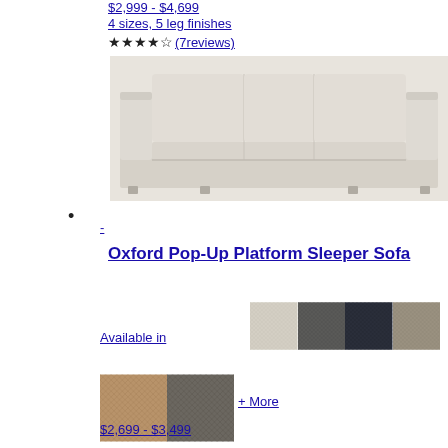$2,999 - $4,699
4 sizes, 5 leg finishes
★★★★☆ (7reviews)
[Figure (photo): A beige/taupe three-cushion sofa with low arms and platform base]
•
-
Oxford Pop-Up Platform Sleeper Sofa
[Figure (photo): Fabric swatches in four colors: beige, dark gray, navy, taupe on top row; two swatches tan and brown/gray on bottom row]
Available in
+ More
$2,699 - $3,499